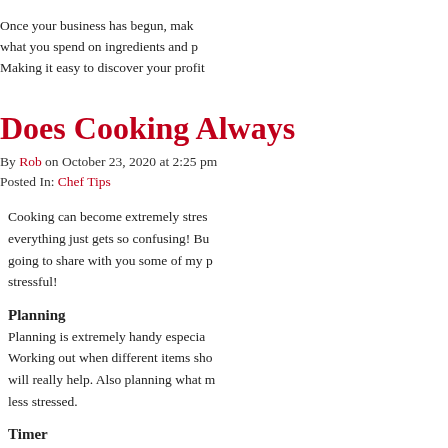Once your business has begun, make sure you track what you spend on ingredients and packaging costs. Making it easy to discover your profit.
Does Cooking Always
By Rob on October 23, 2020 at 2:25 pm
Posted In: Chef Tips
Cooking can become extremely stressful when everything just gets so confusing! But today I am going to share with you some of my personal tips to make cooking less stressful!
Planning
Planning is extremely handy especially when cooking. Working out when different items should go in the oven will really help. Also planning what meals to cook can make you less stressed.
Timer
Use a basic kitchen timer. Whether that is digital or not. Using these can help you to set alarms for when you are cooking. I find this extremely handing
Preparation